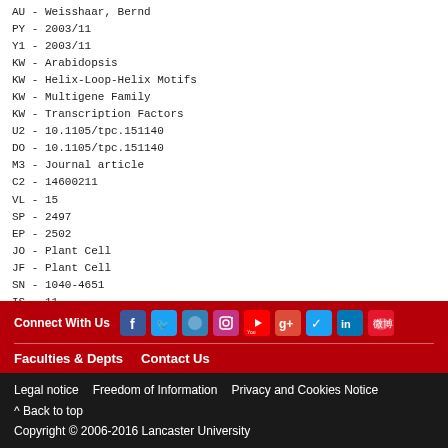AU - Weisshaar, Bernd
PY - 2003/11
Y1 - 2003/11
KW - Arabidopsis
KW - Helix-Loop-Helix Motifs
KW - Multigene Family
KW - Transcription Factors
U2 - 10.1105/tpc.151140
DO - 10.1105/tpc.151140
M3 - Journal article
C2 - 14600211
VL - 15
SP - 2497
EP - 2502
JO - Plant Cell
JF - Plant Cell
SN - 1040-4651
IS - 11
ER -
Connect With Us [social icons] | Faculties & Depts  Contact Us | Legal notice  Freedom of Information  Privacy and Cookies Notice | ^ Back to top | Copyright © 2006-2016 Lancaster University